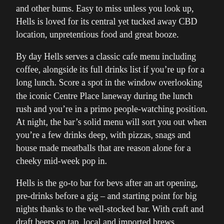and other bums. Easy to miss unless you look up, Hells is loved for its central yet tucked away CBD location, unpretentious food and great booze.
By day Hells serves a classic cafe menu including coffee, alongside its full drinks list if you're up for a long lunch. Score a spot in the window overlooking the iconic Centre Place laneway during the lunch rush and you're in a primo people-watching position. At night, the bar's solid menu will sort you out when you're a few drinks deep, with pizzas, snags and house made meatballs that are reason alone for a cheeky mid-week pop in.
Hells is the go-to bar for bevs after an art opening, pre-drinks before a gig – and starting point for big nights thanks to the well-stocked bar. With craft and draft beers on tap, local and imported brews, tempting cocktail list and tidy selection of single malts and unexpected liqueurs, Hells' range of booze is as eclectic as its clientele.
Welcome to Hells. Get your ass upstairs.